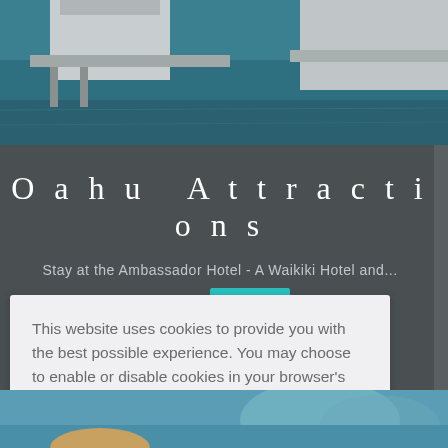[Figure (photo): Overwater bungalow/dock scene with teal ocean water, top portion of page]
Oahu Attractions
Stay at the Ambassador Hotel - A Waikiki Hotel and...
This website uses cookies to provide you with the best possible experience. You may choose to enable or disable cookies in your browser's policy settings.
Learn more
Got it!
[Figure (photo): Ocean and mountain landscape visible in bottom right corner of page]